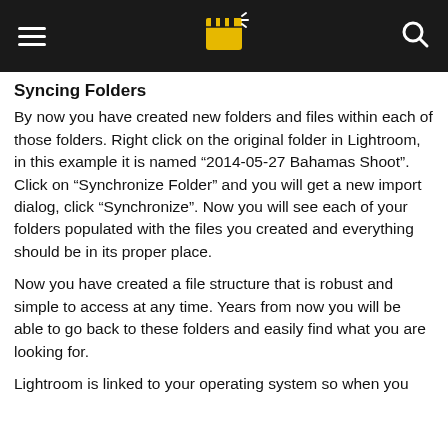[hamburger menu] [film clapper logo] [search icon]
Syncing Folders
By now you have created new folders and files within each of those folders. Right click on the original folder in Lightroom, in this example it is named “2014-05-27 Bahamas Shoot”. Click on “Synchronize Folder” and you will get a new import dialog, click “Synchronize”. Now you will see each of your folders populated with the files you created and everything should be in its proper place.
Now you have created a file structure that is robust and simple to access at any time. Years from now you will be able to go back to these folders and easily find what you are looking for.
Lightroom is linked to your operating system so when you create folders in Lightroom they will appear on your...